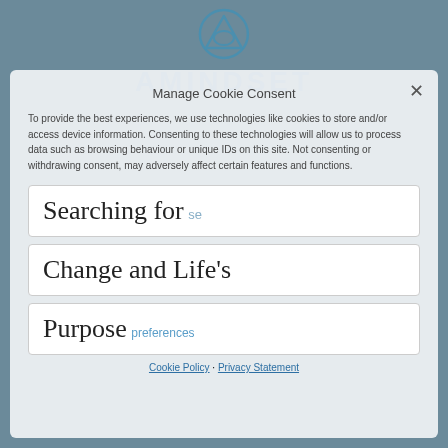[Figure (logo): AMINDSET logo with triangular icon above the text]
Manage Cookie Consent
To provide the best experiences, we use technologies like cookies to store and/or access device information. Consenting to these technologies will allow us to process data such as browsing behaviour or unique IDs on this site. Not consenting or withdrawing consent, may adversely affect certain features and functions.
Searching for
Change and Life's
Purpose
Cookie Policy · Privacy Statement